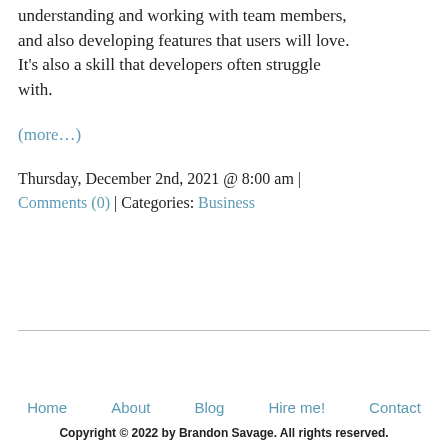understanding and working with team members, and also developing features that users will love. It's also a skill that developers often struggle with.
(more…)
Thursday, December 2nd, 2021 @ 8:00 am | Comments (0) | Categories: Business
Home   About   Blog   Hire me!   Contact
Copyright © 2022 by Brandon Savage. All rights reserved.